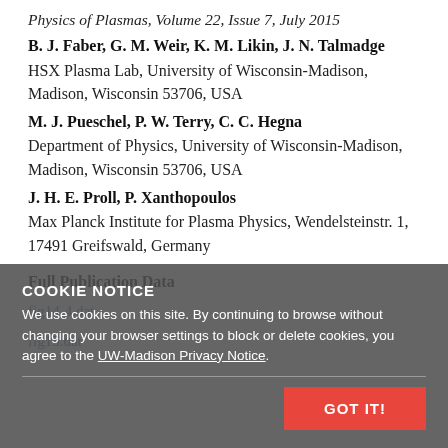Physics of Plasmas, Volume 22, Issue 7, July 2015
B. J. Faber, G. M. Weir, K. M. Likin, J. N. Talmadge
HSX Plasma Lab, University of Wisconsin-Madison, Madison, Wisconsin 53706, USA
M. J. Pueschel, P. W. Terry, C. C. Hegna
Department of Physics, University of Wisconsin-Madison, Madison, Wisconsin 53706, USA
J. H. E. Proll, P. Xanthopoulos
Max Planck Institute for Plasma Physics, Wendelsteinstr. 1, 17491 Greifswald, Germany
Full Publication Data
fig14-4.dat
fig15.dat